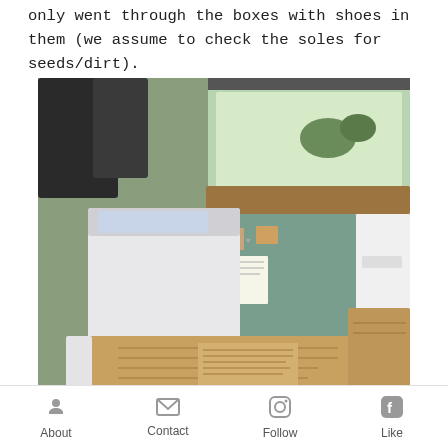only went through the boxes with shoes in them (we assume to check the soles for seeds/dirt).
[Figure (photo): Interior of a vehicle with cardboard moving boxes stacked up, a white cooler/box, a small cabinet with decorations including photos pinned to it, and a window showing greenery outside. A red-striped box labeled 'Wraps' is visible at the bottom.]
About   Contact   Follow   Like